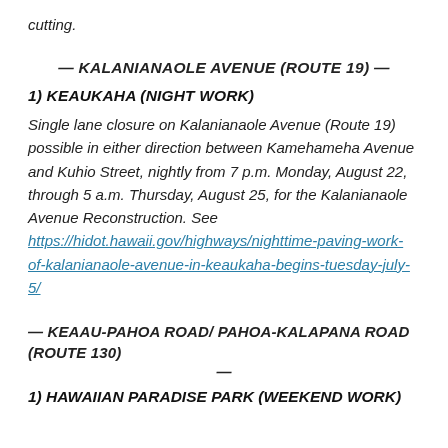cutting.
— KALANIANAOLE AVENUE (ROUTE 19) —
1) KEAUKAHA (NIGHT WORK)
Single lane closure on Kalanianaole Avenue (Route 19) possible in either direction between Kamehameha Avenue and Kuhio Street, nightly from 7 p.m. Monday, August 22, through 5 a.m. Thursday, August 25, for the Kalanianaole Avenue Reconstruction. See https://hidot.hawaii.gov/highways/nighttime-paving-work-of-kalanianaole-avenue-in-keaukaha-begins-tuesday-july-5/
— KEAAU-PAHOA ROAD/ PAHOA-KALAPANA ROAD (ROUTE 130) —
1) HAWAIIAN PARADISE PARK (WEEKEND WORK)